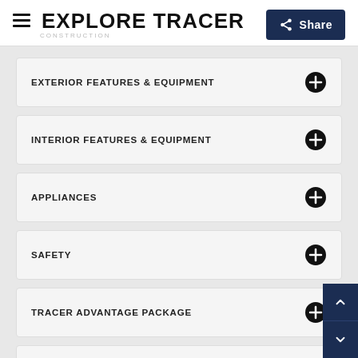EXPLORE TRACER
CONSTRUCTION
EXTERIOR FEATURES & EQUIPMENT
INTERIOR FEATURES & EQUIPMENT
APPLIANCES
SAFETY
TRACER ADVANTAGE PACKAGE
TRACER LE ADVANTAGE PACKAGE